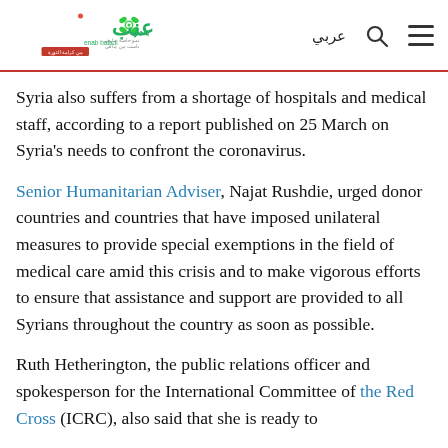[Figure (logo): Enab Baladi news website logo with Arabic text and navigation icons]
Syria also suffers from a shortage of hospitals and medical staff, according to a report published on 25 March on Syria’s needs to confront the coronavirus.
Senior Humanitarian Adviser, Najat Rushdie, urged donor countries and countries that have imposed unilateral measures to provide special exemptions in the field of medical care amid this crisis and to make vigorous efforts to ensure that assistance and support are provided to all Syrians throughout the country as soon as possible.
Ruth Hetherington, the public relations officer and spokesperson for the International Committee of the Red Cross (ICRC), also said that she is ready to